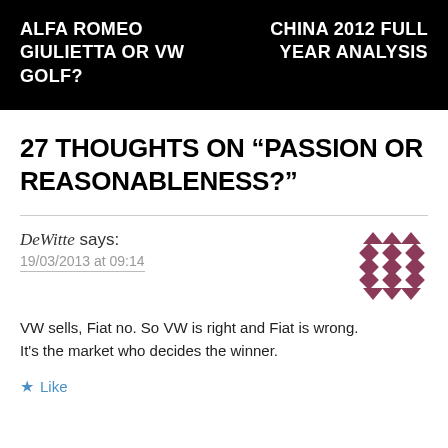ALFA ROMEO GIULIETTA OR VW GOLF?   CHINA 2012 FULL YEAR ANALYSIS
27 THOUGHTS ON “PASSION OR REASONABLENESS?”
DeWitte says:
19/03/2013 at 09:14
VW sells, Fiat no. So VW is right and Fiat is wrong.
It's the market who decides the winner.
★ Like